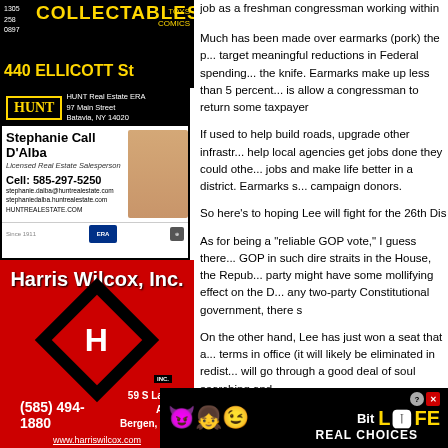[Figure (other): Collectables Toys Comics advertisement - 440 Ellicott St, phone numbers 1305, 258, 0897]
[Figure (other): HUNT Real Estate ERA advertisement - Stephanie Call D'Alba, Licensed Real Estate Salesperson, Cell: 585-297-5250]
[Figure (other): Harris Wilcox, Inc. advertisement - 59 S Lake Ave Bergen NY, (585) 494-1880, www.harriswilcox.com]
[Figure (other): Sallome Heating & Cooling advertisement - phone 585-343-8236, Over 70 Years in Business]
[Figure (other): Chap's Elba Diner & Catering - Daily Specials, Like us on Facebook, 585-757-5001]
job as a freshman congressman working within a
Much has been made over earmarks (pork) the p... target meaningful reductions in Federal spending... the knife. Earmarks make up less than 5 percent... is allow a congressman to return some taxpayer
If used to help build roads, upgrade other infrastr... help local agencies get jobs done they could othe... jobs and make life better in a district. Earmarks s... campaign donors.
So here's to hoping Lee will fight for the 26th Dis
As for being a "reliable GOP vote," I guess there... GOP in such dire straits in the House, the Repub... party might have some mollifying effect on the D... any two-party Constitutional government, there s
On the other hand, Lee has just won a seat that a... terms in office (it will likely be eliminated in redist... will go through a good deal of soul searching and
[Figure (other): BitLife Real Choices advertisement with emoji characters]